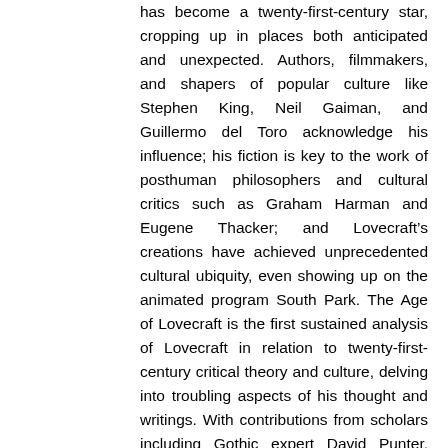has become a twenty-first-century star, cropping up in places both anticipated and unexpected. Authors, filmmakers, and shapers of popular culture like Stephen King, Neil Gaiman, and Guillermo del Toro acknowledge his influence; his fiction is key to the work of posthuman philosophers and cultural critics such as Graham Harman and Eugene Thacker; and Lovecraft’s creations have achieved unprecedented cultural ubiquity, even showing up on the animated program South Park. The Age of Lovecraft is the first sustained analysis of Lovecraft in relation to twenty-first-century critical theory and culture, delving into troubling aspects of his thought and writings. With contributions from scholars including Gothic expert David Punter, historian W. Scott Poole, musicologist Isabella van Elferen, and philosopher of the posthuman Patricia